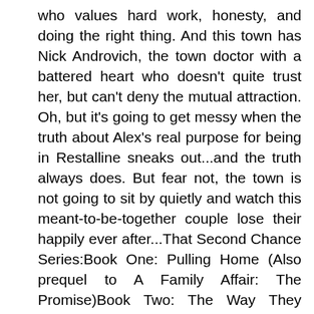who values hard work, honesty, and doing the right thing. And this town has Nick Androvich, the town doctor with a battered heart who doesn't quite trust her, but can't deny the mutual attraction. Oh, but it's going to get messy when the truth about Alex's real purpose for being in Restalline sneaks out...and the truth always does. But fear not, the town is not going to sit by quietly and watch this meant-to-be-together couple lose their happily ever after...That Second Chance Series:Book One: Pulling Home (Also prequel to A Family Affair: The Promise)Book Two: The Way They Were (Also prequel to A Family Affair: The Secret)Book Three: Simple Riches (Also prequel to A Family Affair: Winter)Book Four: Paradise FoundBook Five: Not Your Everyday HousewifeBook Six: